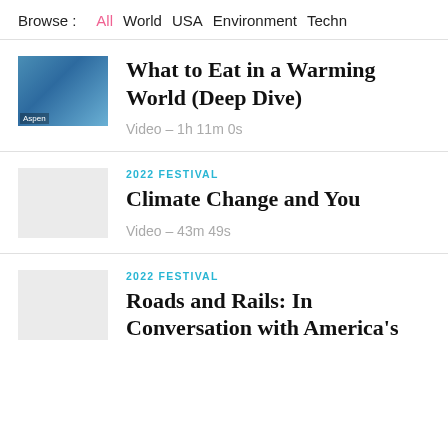Browse : All  World  USA  Environment  Techn
[Figure (photo): Thumbnail photo of a speaker at an Aspen event against a blue background]
What to Eat in a Warming World (Deep Dive)
Video – 1h 11m 0s
2022 FESTIVAL
Climate Change and You
Video – 43m 49s
2022 FESTIVAL
Roads and Rails: In Conversation with America's